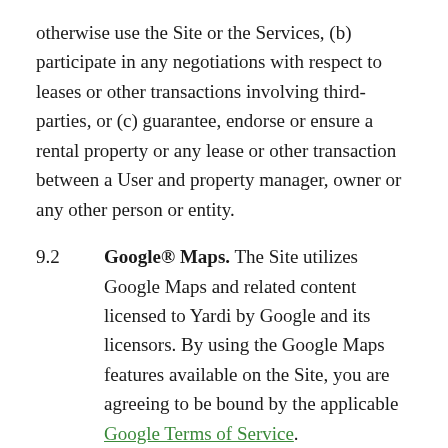otherwise use the Site or the Services, (b) participate in any negotiations with respect to leases or other transactions involving third-parties, or (c) guarantee, endorse or ensure a rental property or any lease or other transaction between a User and property manager, owner or any other person or entity.
9.2   Google® Maps. The Site utilizes Google Maps and related content licensed to Yardi by Google and its licensors. By using the Google Maps features available on the Site, you are agreeing to be bound by the applicable Google Terms of Service.
10.   OWNERSHIP. You acknowledge and agree that the Site and the Services use and contain intellectual property, and proprietary and confidential technology owned by or licensed to Yardi, and protected by applicable intellectual